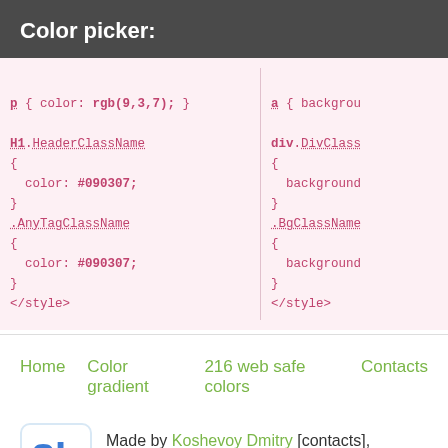Color picker:
p { color: rgb(9,3,7); }

H1.HeaderClassName
{
  color: #090307;
}
.AnyTagClassName
{
  color: #090307;
}
</style>
a { background
div.DivClass
{
  background
}
.BgClassName
{
  background
}
</style>
Home    Color gradient    216 web safe colors    Contacts
Made by Koshevoy Dmitry [contacts],
© 2014-2022 Ukraine, Mykolayiv.